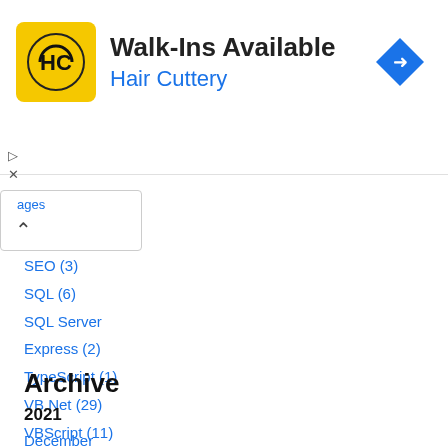[Figure (illustration): Hair Cuttery advertisement banner with yellow logo containing 'HC' monogram, text 'Walk-Ins Available' in bold, 'Hair Cuttery' in blue, and a blue diamond-shaped direction arrow icon on the right.]
ages (partially visible)
SEO (3)
SQL (6)
SQL Server Express (2)
TypeScript (1)
VB.Net (29)
VBScript (11)
Visual Studio (5)
Web API (1)
WebGrid (16)
WebMatrix (80)
Archive
2021
December
2021 (1)